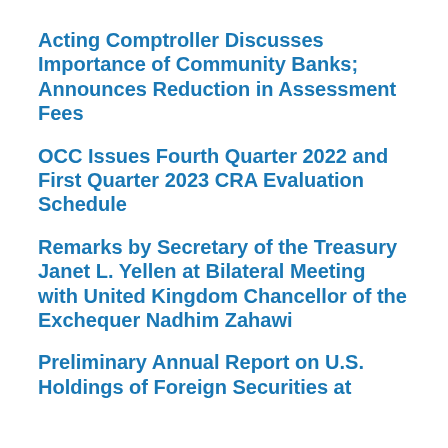Acting Comptroller Discusses Importance of Community Banks; Announces Reduction in Assessment Fees
OCC Issues Fourth Quarter 2022 and First Quarter 2023 CRA Evaluation Schedule
Remarks by Secretary of the Treasury Janet L. Yellen at Bilateral Meeting with United Kingdom Chancellor of the Exchequer Nadhim Zahawi
Preliminary Annual Report on U.S. Holdings of Foreign Securities at